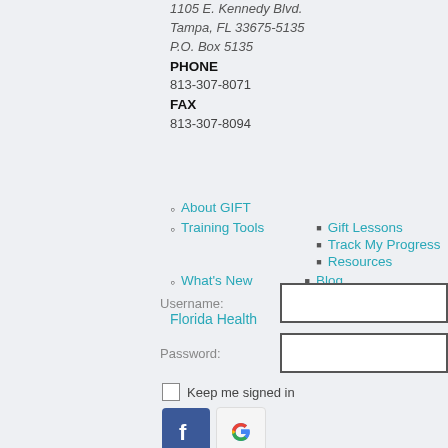1105 E. Kennedy Blvd.
Tampa, FL 33675-5135
P.O. Box 5135
PHONE
813-307-8071
FAX
813-307-8094
About GIFT
Training Tools
Gift Lessons
Track My Progress
Resources
What's New
Blog
News
Florida Health
Username:
Password:
Keep me signed in
[Figure (logo): Facebook logo button (blue square with white F)]
[Figure (logo): Google logo button (white square with G logo in red, yellow, green, blue)]
Secured by OneAll Social Login